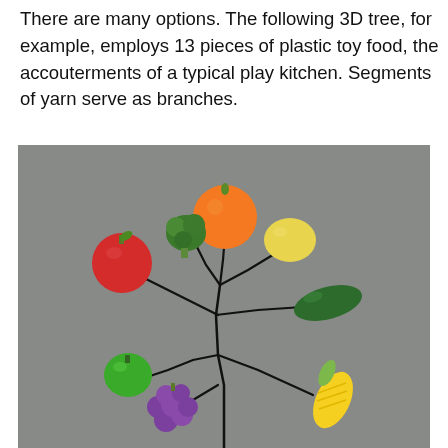There are many options. The following 3D tree, for example, employs 13 pieces of plastic toy food, the accouterments of a typical play kitchen. Segments of yarn serve as branches.
[Figure (photo): A photo of a 3D tree made from plastic toy food (fruits and vegetables including an orange, lemon, apple, broccoli, green pepper, cucumber, corn, grapes) connected by black yarn segments as branches, arranged on a gray background.]